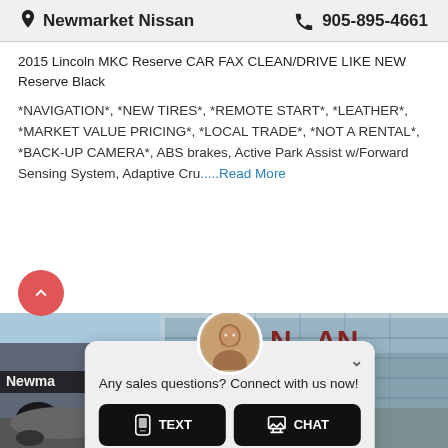Newmarket Nissan  905-895-4661
2015 Lincoln MKC Reserve CAR FAX CLEAN/DRIVE LIKE NEW Reserve Black
*NAVIGATION*, *NEW TIRES*, *REMOTE START*, *LEATHER*, *MARKET VALUE PRICING*, *LOCAL TRADE*, *NOT A RENTAL*, *BACK-UP CAMERA*, ABS brakes, Active Park Assist w/Forward Sensing System, Adaptive Cru.....Read More
[Figure (photo): Newmarket Nissan dealership building exterior with chat popup overlay showing agent avatar, text 'Any sales questions? Connect with us now!' and TEXT and CHAT buttons]